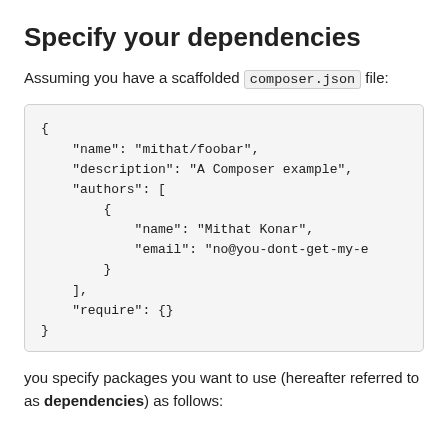Specify your dependencies
Assuming you have a scaffolded composer.json file:
{
    "name": "mithat/foobar",
    "description": "A Composer example",
    "authors": [
        {
            "name": "Mithat Konar",
            "email": "no@you-dont-get-my-e
        }
    ],
    "require": {}
}
you specify packages you want to use (hereafter referred to as dependencies) as follows: